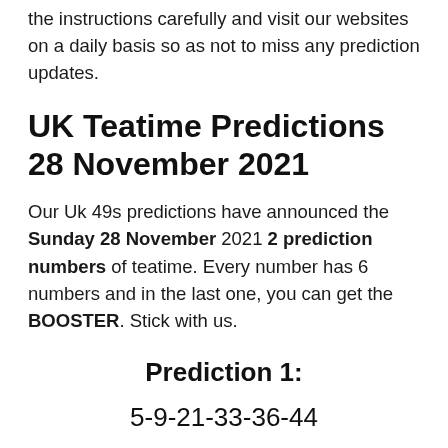the instructions carefully and visit our websites on a daily basis so as not to miss any prediction updates.
UK Teatime Predictions 28 November 2021
Our Uk 49s predictions have announced the Sunday 28 November 2021 2 prediction numbers of teatime. Every number has 6 numbers and in the last one, you can get the BOOSTER. Stick with us.
Prediction 1:
5-9-21-33-36-44
Prediction 2: